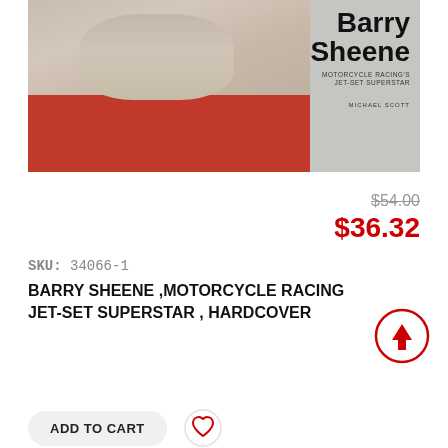[Figure (photo): Book cover of 'Barry Sheene: Motorcycle Racing's Jet-Set Superstar' by Michael Scott. Shows a smiling man in a red jacket on the left side, with large bold text 'Barry Sheene' and subtitle 'Motorcycle Racing's Jet-Set Superstar' and author 'Michael Scott' on the right side against a grey background.]
$54.00
$36.32
SKU: 34066-1
BARRY SHEENE ,MOTORCYCLE RACING JET-SET SUPERSTAR , HARDCOVER
ADD TO CART